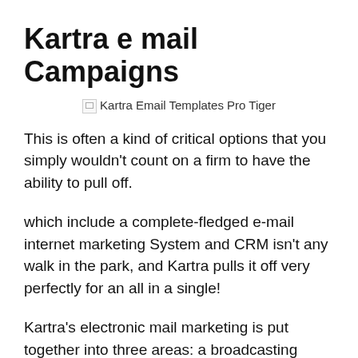Kartra e mail Campaigns
[Figure (illustration): Broken image placeholder with alt text: Kartra Email Templates Pro Tiger]
This is often a kind of critical options that you simply wouldn't count on a firm to have the ability to pull off.
which include a complete-fledged e-mail internet marketing System and CRM isn't any walk in the park, and Kartra pulls it off very perfectly for an all in a single!
Kartra's electronic mail marketing is put together into three areas: a broadcasting Instrument, an